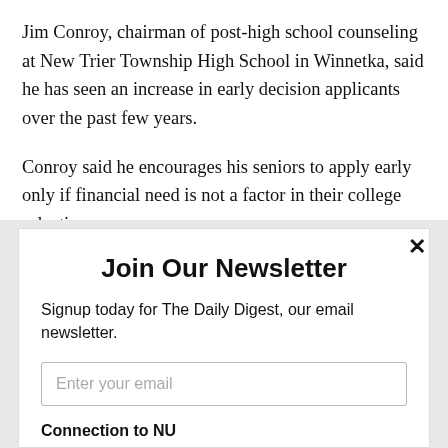Jim Conroy, chairman of post-high school counseling at New Trier Township High School in Winnetka, said he has seen an increase in early decision applicants over the past few years.
Conroy said he encourages his seniors to apply early only if financial need is not a factor in their college selection.
Join Our Newsletter
Signup today for The Daily Digest, our email newsletter.